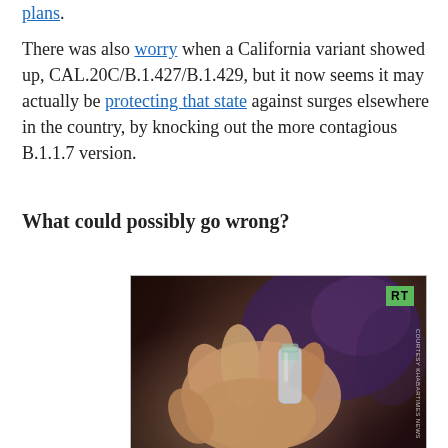plans. There was also worry when a California variant showed up, CAL.20C/B.1.427/B.1.429, but it now seems it may actually be protecting that state against surges elsewhere in the country, by knocking out the more contagious B.1.1.7 version.
What could possibly go wrong?
[Figure (photo): A person wearing a blue mask holds a small glass vial (vaccine vial) between their fingers in close-up. An RT logo badge appears in the top right corner of the image. A vertical photo credit text reads 'COURTESY KHABARTIMES NEWS'.]